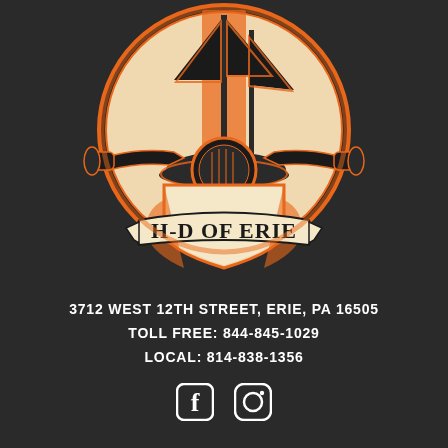[Figure (logo): Harley-Davidson of Erie logo: circular emblem with a sailing ship, motorcycle handlebars, a shield shape, and a banner reading H-D OF ERIE in black and orange on white, set against a dark background]
3712 WEST 12TH STREET, ERIE, PA 16505
TOLL FREE: 844-845-1029
LOCAL: 814-838-1356
[Figure (illustration): Facebook and Instagram social media icons in white]